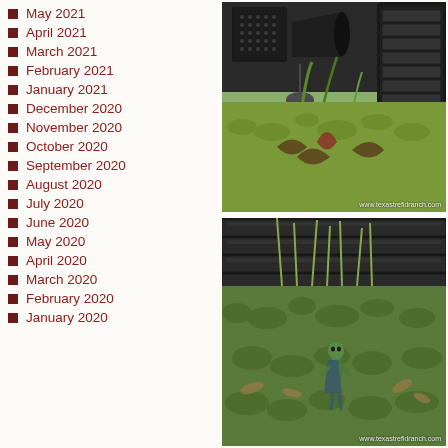May 2021
April 2021
March 2021
February 2021
January 2021
December 2020
November 2020
October 2020
September 2020
August 2020
July 2020
June 2020
May 2020
April 2020
March 2020
February 2020
January 2020
[Figure (photo): Close-up photo of a toy military vehicle with tank treads among moss and carnivorous plants, with watermark www.texastrefidranch.com]
[Figure (photo): Close-up photo of a small alien/green figure standing among tall grass and moss near toy military vehicle treads, with watermark www.texastrefidranch.com]